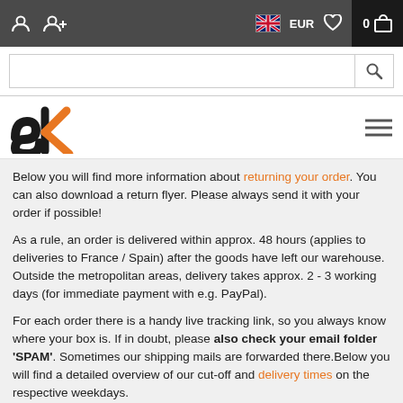Navigation bar with user icons, flag (UK), EUR, heart, and cart (0)
[Figure (screenshot): Search bar with magnifying glass icon]
[Figure (logo): SK logo in black and orange]
Below you will find more information about returning your order. You can also download a return flyer. Please always send it with your order if possible!
As a rule, an order is delivered within approx. 48 hours (applies to deliveries to France / Spain) after the goods have left our warehouse. Outside the metropolitan areas, delivery takes approx. 2 - 3 working days (for immediate payment with e.g. PayPal).
For each order there is a handy live tracking link, so you always know where your box is. If in doubt, please also check your email folder 'SPAM'. Sometimes our shipping mails are forwarded there. Below you will find a detailed overview of our cut-off and delivery times on the respective weekdays.